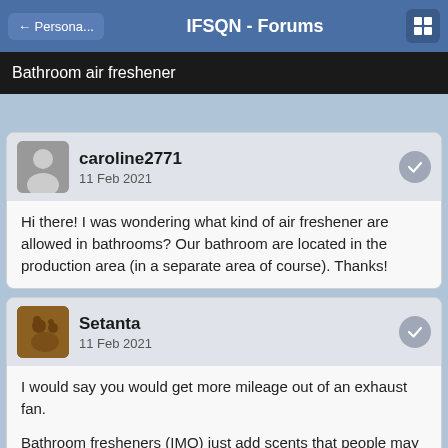← Persona... | IFSQN - Forums
Bathroom air freshener
caroline2771
11 Feb 2021
Hi there! I was wondering what kind of air freshener are allowed in bathrooms? Our bathroom are located in the production area (in a separate area of course). Thanks!
Setanta
11 Feb 2021
I would say you would get more mileage out of an exhaust fan.

Bathroom fresheners (IMO) just add scents that people may or may not even like. Many people are also developing sensitivities to scented products, also.